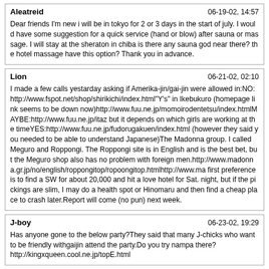Aleatreid
06-19-02, 14:57
Dear friends I'm new i will be in tokyo for 2 or 3 days in the start of july. I would have some suggestion for a quick service (hand or blow) after sauna or massage. I will stay at the sheraton in chiba is there any sauna god near there? the hotel massage have this option? Thank you in advance.
Lion
06-21-02, 02:10
I made a few calls yestarday asking if Amerika-jin/gai-jin were allowed in:NO:http://www.fspot.net/shop/shirikichi/index.html"Y's" in Ikebukuro (homepage link seems to be down now)http://www.fuu.ne.jp/momoirodentetsu/index.htmlMAYBE:http://www.fuu.ne.jp/itaz but it depends on which girls are working at the timeYES:http://www.fuu.ne.jp/fudorugakuen/index.html (however they said you needed to be able to understand Japanese)The Madonna group. I called Meguro and Roppongi. The Roppongi site is in English and is the best bet, but the Meguro shop also has no problem with foreign men.http://www.madonna.gr.jp/no/english/roppongitop/ropoongitop.htmlhttp://www.ma first preference is to find a SW for about 20,000 and hit a love hotel for Sat. night, but if the pickings are slim, I may do a health spot or Hinomaru and then find a cheap place to crash later.Report will come (no pun) next week.
J-boy
06-23-02, 19:29
Has anyone gone to the below party?They said that many J-chicks who want to be friendly withgaijin attend the party.Do you try nampa there?
http://kingxqueen.cool.ne.jp/topE.html
Chikan
06-23-02, 22:10
J-boy, Looks interesting.........in the photo's you could almost see the hormones flying through the air....looks like it would be quite easy to score there...thanks for the link!